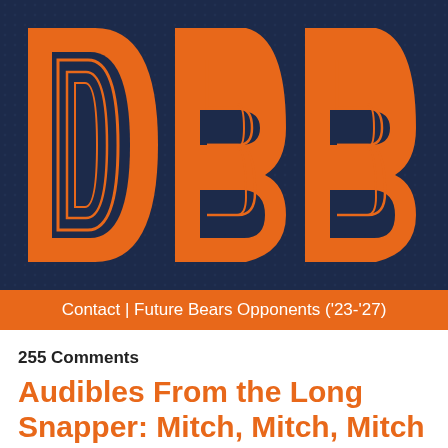[Figure (logo): DBB logo — large orange outlined letters D, B, B on a dark navy textured background]
Contact | Future Bears Opponents ('23-'27)
255 Comments
Audibles From the Long Snapper: Mitch, Mitch, Mitch & More!
Jeff Hughes | October 3rd, 2017
[Figure (photo): Photo of a Bears player wearing a white helmet with orange and navy accents, partially visible at bottom of page]